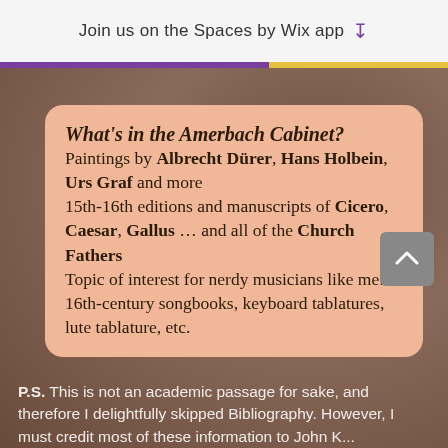Join us on the Spaces by Wix app
What's in the Amerbach Cabinet?
Paintings by Albrecht Dürer, Hans Holbein, Urs Graf and more
15th-16th editions and manuscripts of Cicero, Caesar, Gallus … and all of the Church Fathers
Topic of interest for nerdy musicians like me: 16th-century songbooks, keyboard tablatures, lute tablature, etc.
P.S. This is not an academic passage for sake, and therefore I delightfully skipped Bibliography. However, I must credit most of these information to John K...